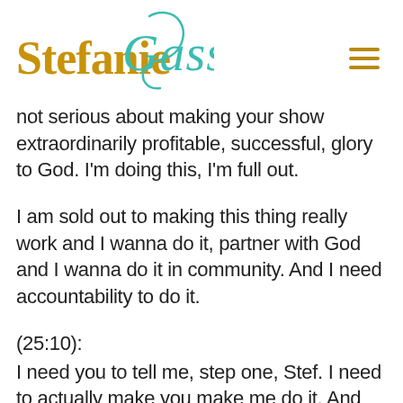Stefanie Gass
not serious about making your show extraordinarily profitable, successful, glory to God. I'm doing this, I'm full out.
I am sold out to making this thing really work and I wanna do it, partner with God and I wanna do it in community. And I need accountability to do it.
(25:10):
I need you to tell me, step one, Stef. I need to actually make you make me do it. And then I am going to show up and I'm gonna